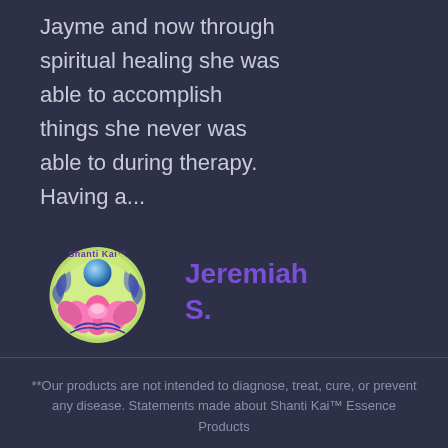Jayme and now through spiritual healing she was able to accomplish things she never was able to during therapy. Having a...
[Figure (logo): Shanti Kai circular logo with lotus flower, blue orb, and decorative leaves on green background with purple text 'Shanti Kai' at top]
Jeremiah S.
**Our products are not intended to diagnose, treat, cure, or prevent any disease. Statements made about Shanti Kai™ Essence Products